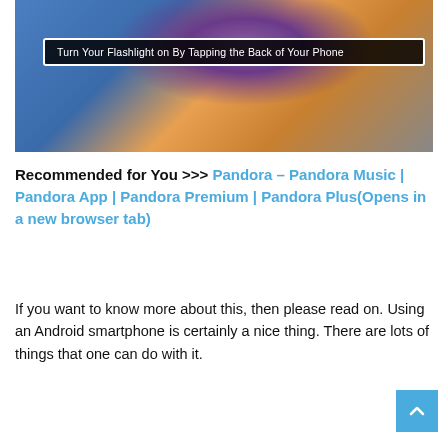[Figure (photo): Photo of a person tapping the back of a smartphone with fingers, with a purple ripple effect visible on the phone screen. Overlay text reads: 'Turn Your Flashlight on By Tapping the Back of Your Phone']
Recommended for You >>> Pandora – Pandora Music | Pandora App | Pandora Premium | Pandora Plus(Opens in a new browser tab)
If you want to know more about this, then please read on. Using an Android smartphone is certainly a nice thing. There are lots of things that one can do with it.